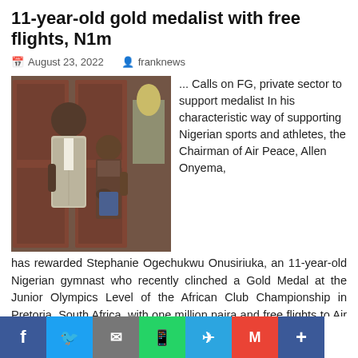11-year-old gold medalist with free flights, N1m
August 23, 2022   franknews
[Figure (photo): A tall man in a suit standing beside a young girl in a school uniform, both posing in an office setting with wooden shelving in the background.]
... Calls on FG, private sector to support medalist In his characteristic way of supporting Nigerian sports and athletes, the Chairman of Air Peace, Allen Onyema, has rewarded Stephanie Ogechukwu Onusiriuka, an 11-year-old Nigerian gymnast who recently clinched a Gold Medal at the Junior Olympics Level of the African Club Championship in Pretoria, South Africa, with one million naira and free flights to Air Peace destinations for trainings or competitions. Onyema, who, on Monday, August 22, 2022, at the Air Peace headquarters in Lagos, congratulated Onusiriuka for making Nigeria proud.